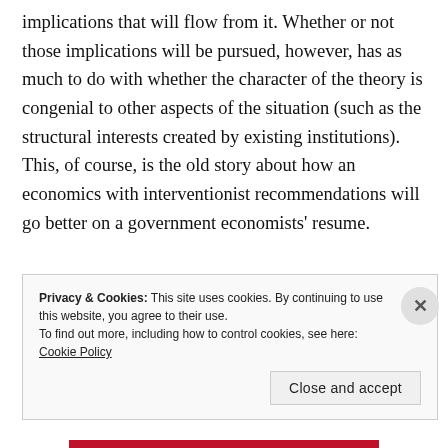implications that will flow from it. Whether or not those implications will be pursued, however, has as much to do with whether the character of the theory is congenial to other aspects of the situation (such as the structural interests created by existing institutions). This, of course, is the old story about how an economics with interventionist recommendations will go better on a government economists' resume.
Privacy & Cookies: This site uses cookies. By continuing to use this website, you agree to their use. To find out more, including how to control cookies, see here: Cookie Policy
Close and accept